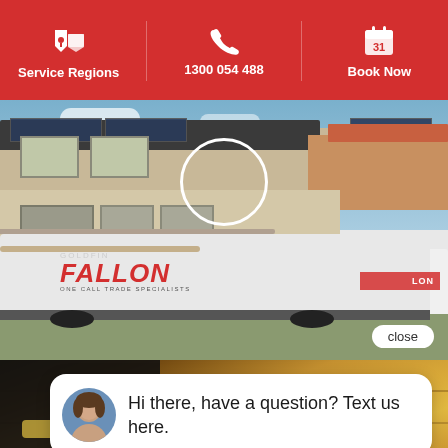Service Regions | 1300 054 488 | Book Now
[Figure (photo): Fallon Solutions trade services van parked in front of a suburban house with solar panels on roof. A white circle highlights a window area. A 'close' button is visible in the bottom right of the photo.]
close
[Figure (photo): Background image showing wood planks and a hand using a tape measure, with 'Carpenter' text overlay. A chat popup appears with avatar and text 'Hi there, have a question? Text us here.' A blue chat bubble button is in the bottom right.]
Hi there, have a question? Text us here.
Carpenter